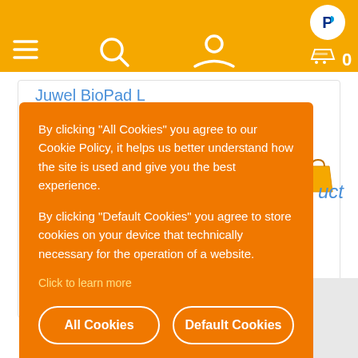[Figure (screenshot): Mobile e-commerce website header navigation bar with hamburger menu, search icon, user icon on orange background, PayPal logo top right, shopping cart bottom right]
Juwel BioPad L
£3.70  3 including VAT  Only 3 left in stock
By clicking "All Cookies" you agree to our Cookie Policy, it helps us better understand how the site is used and give you the best experience.

By clicking "Default Cookies" you agree to store cookies on your device that technically necessary for the operation of a website.
Click to learn more
All Cookies
Default Cookies